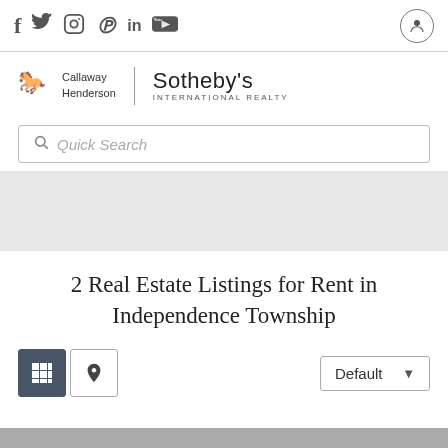[Figure (screenshot): Social media icons: Facebook, Twitter, Instagram, Pinterest, LinkedIn, YouTube in top navigation bar, with a user profile circle icon on the right]
[Figure (logo): Callaway Henderson Sotheby's International Realty logo with horse icon]
[Figure (screenshot): Quick Search input bar with magnifying glass icon]
2 Real Estate Listings for Rent in Independence Township
[Figure (screenshot): View toggle buttons: grid view (active, dark background) and map pin view (inactive). Sort dropdown showing 'Default' with arrow.]